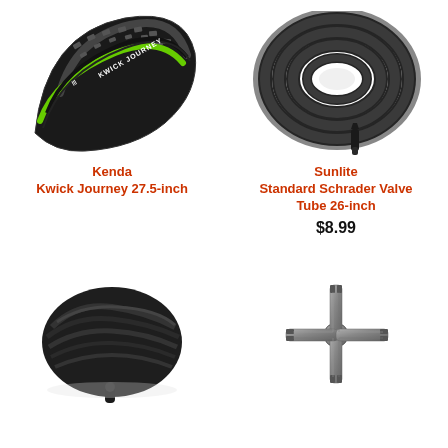[Figure (photo): Kenda Kwick Journey 27.5-inch bicycle tire, black with green stripe, shown folded/curved]
Kenda
Kwick Journey 27.5-inch
[Figure (photo): Sunlite Standard Schrader Valve Tube 26-inch, black inner tube coiled in circular shape with valve stem visible]
Sunlite
Standard Schrader Valve Tube 26-inch
$8.99
[Figure (photo): Black bicycle inner tube folded, with Schrader valve stem visible at bottom]
[Figure (photo): Metal spoke wrench / cone wrench tool, cross-shaped, silver/grey colored]